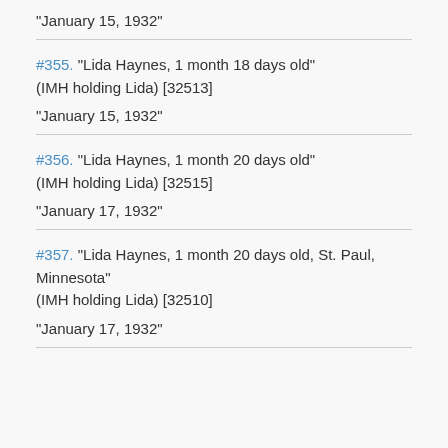"January 15, 1932"
#355. "Lida Haynes, 1 month 18 days old" (IMH holding Lida) [32513]
"January 15, 1932"
#356. "Lida Haynes, 1 month 20 days old" (IMH holding Lida) [32515]
"January 17, 1932"
#357. "Lida Haynes, 1 month 20 days old, St. Paul, Minnesota" (IMH holding Lida) [32510]
"January 17, 1932"